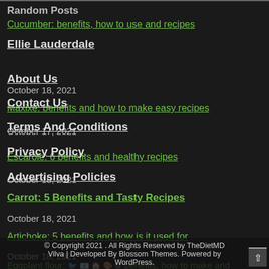Random Posts
Cucumber: benefits, how to use and recipes
October 18, 2021
Maxixe: benefits and how to make easy recipes
October 17, 2021
Escarole: 6 benefits and healthy recipes
October 18, 2021
Carrot: 5 Benefits and Tasty Recipes
October 18, 2021
Artichoke: 5 benefits and how is it used for
October 18, 2021
Eggplant flour: benefits, how to make and recipes with it
Ellie Lauderdale
About Us
Contact Us
Terms And Conditions
Privacy Policy
Advertising Policies
© Copyright 2021 . All Rights Reserved by TheDietMD
Vilva | Developed By Blossom Themes. Powered by WordPress.